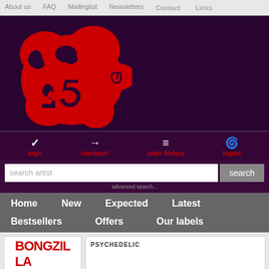About us  FAQ  Mailinglist  Newsletters  Contact  Links
[Figure (logo): Clean Records psychedelic red logo on dark purple background]
login
checkout!
order history
logout
search artist
search
advanced search...
Home
New
Expected
Latest
Bestsellers
Offers
Our labels
BONGZILLA
PSYCHEDELIC